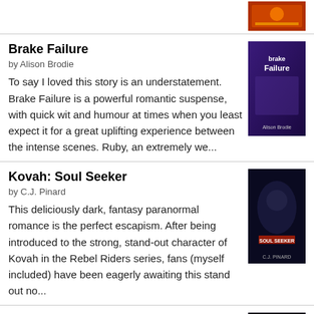[Figure (illustration): Top partial book cover image, colorful]
Brake Failure
by Alison Brodie
To say I loved this story is an understatement. Brake Failure is a powerful romantic suspense, with quick wit and humour at times when you least expect it for a great uplifting experience between the intense scenes. Ruby, an extremely we...
[Figure (illustration): Brake Failure book cover - purple tones]
Kovah: Soul Seeker
by C.J. Pinard
This deliciously dark, fantasy paranormal romance is the perfect escapism. After being introduced to the strong, stand-out character of Kovah in the Rebel Riders series, fans (myself included) have been eagerly awaiting this stand out no...
[Figure (illustration): Kovah: Soul Seeker book cover - dark tones]
Guardian
by C.J. Pinard
I have followed Lotus's journey through each book of the series, and GUARDIAN is a brilliant story to end the series. Lotus has certainly come a long way throughout the series; although half-vampire and half-faery she has lived most of h...
[Figure (illustration): Guardian book cover - dark tones]